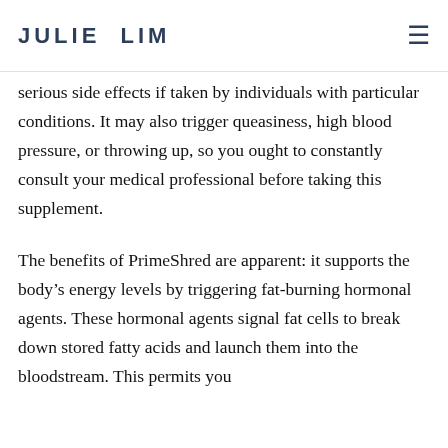JULIE LIM
serious side effects if taken by individuals with particular conditions. It may also trigger queasiness, high blood pressure, or throwing up, so you ought to constantly consult your medical professional before taking this supplement.
The benefits of PrimeShred are apparent: it supports the body’s energy levels by triggering fat-burning hormonal agents. These hormonal agents signal fat cells to break down stored fatty acids and launch them into the bloodstream. This permits you